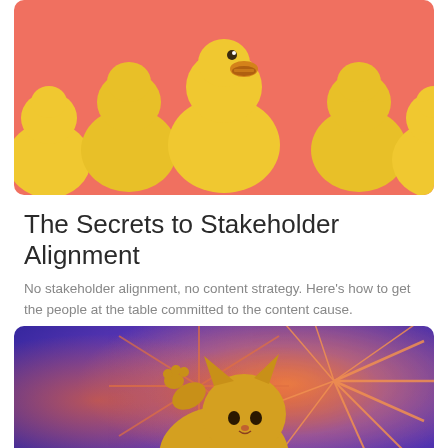[Figure (photo): Row of yellow rubber ducks on a coral/salmon pink background. The center duck is facing forward with its beak open, while the others face sideways.]
The Secrets to Stakeholder Alignment
No stakeholder alignment, no content strategy. Here's how to get the people at the table committed to the content cause.
[Figure (photo): A cat with its paw raised against a purple/blue and orange background with dramatic starburst light ray effects. The cat has a golden/yellow duotone color treatment.]